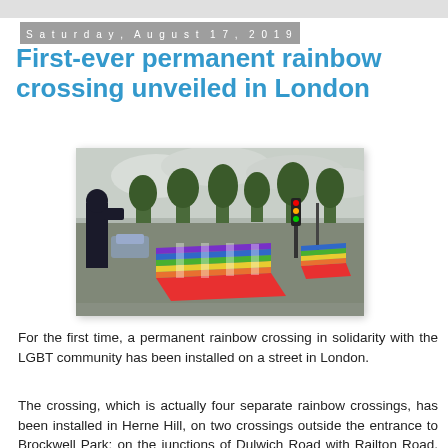Saturday, August 17, 2019
First-ever permanent rainbow crossing unveiled in London
[Figure (photo): A photo showing a rainbow-colored pedestrian crossing at a street intersection in London. A person in dark clothing stands on the left. The crossing features stripes in red, orange, yellow, green, blue, and purple. Trees and traffic lights are visible in the background.]
For the first time, a permanent rainbow crossing in solidarity with the LGBT community has been installed on a street in London.
The crossing, which is actually four separate rainbow crossings, has been installed in Herne Hill, on two crossings outside the entrance to Brockwell Park; on the junctions of Dulwich Road with Railton Road, and Norwood Road with